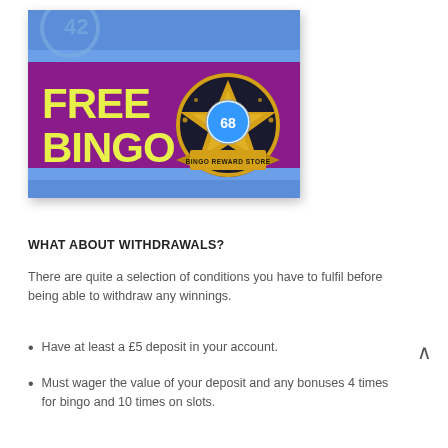[Figure (illustration): Free Bingo promotional banner with purple and blue background. Large yellow text reads FREE BINGO on the left. On the right is a gold star medal/badge with a bingo ball in the center and a ribbon saying BINGO REWARD STORE.]
WHAT ABOUT WITHDRAWALS?
There are quite a selection of conditions you have to fulfil before being able to withdraw any winnings.
Have at least a £5 deposit in your account.
Must wager the value of your deposit and any bonuses 4 times for bingo and 10 times on slots.